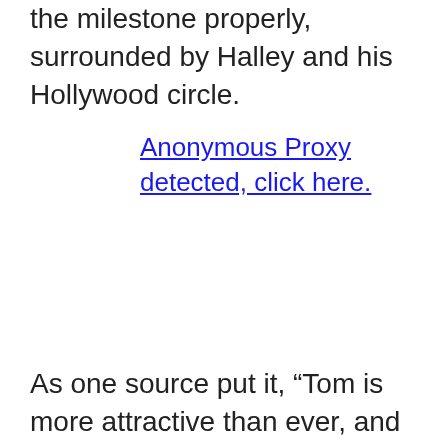the milestone properly, surrounded by Halley and his Hollywood circle.
Anonymous Proxy detected, click here.
As one source put it, “Tom is more attractive than ever, and he looks better too.”